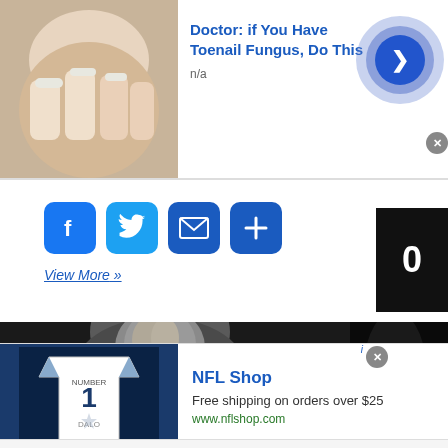[Figure (photo): Advertisement banner: toenail fungus doctor ad with thumbnail of foot image on left, blue arrow button on right]
Doctor: if You Have Toenail Fungus, Do This
n/a
[Figure (infographic): Social sharing buttons: Facebook, Twitter, Email, Plus icons in blue rounded squares]
View More »
[Figure (photo): Black and white photo of Ross Perot with overlay text: ROSS PEROT 1930-2019]
[Figure (photo): NFL Shop advertisement: NFL jersey thumbnail, text NFL Shop, Free shipping on orders over $25, www.nflshop.com]